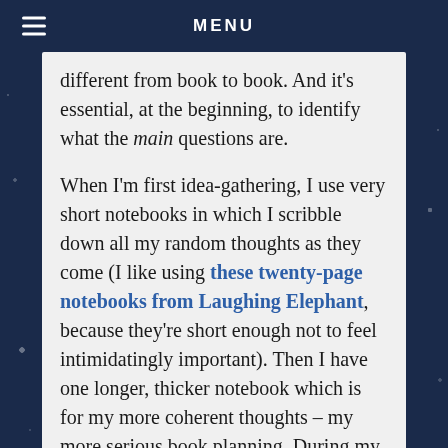MENU
different from book to book. And it's essential, at the beginning, to identify what the main questions are.
When I'm first idea-gathering, I use very short notebooks in which I scribble down all my random thoughts as they come (I like using these twenty-page notebooks from Laughing Elephant, because they're short enough not to feel intimidatingly important). Then I have one longer, thicker notebook which is for my more coherent thoughts – my more serious book planning. During my week of active idea-